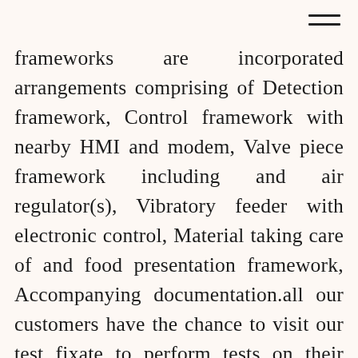≡
frameworks are incorporated arrangements comprising of Detection framework, Control framework with nearby HMI and modem, Valve piece framework including and air regulator(s), Vibratory feeder with electronic control, Material taking care of and food presentation framework, Accompanying documentation.all our customers have the chance to visit our test fixate to perform tests on their metal or crude materials and verify that they get the ideal answer for their sensor-based mineral sorting errands. Hongxing sorting arrangements is the pioneer in sensor-based sorting. The experience picked up from more than 10,000 introduced frameworks in the